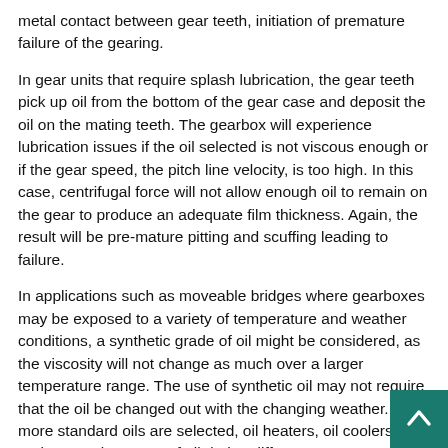metal contact between gear teeth, initiation of premature failure of the gearing.
In gear units that require splash lubrication, the gear teeth pick up oil from the bottom of the gear case and deposit the oil on the mating teeth. The gearbox will experience lubrication issues if the oil selected is not viscous enough or if the gear speed, the pitch line velocity, is too high. In this case, centrifugal force will not allow enough oil to remain on the gear to produce an adequate film thickness. Again, the result will be pre-mature pitting and scuffing leading to failure.
In applications such as moveable bridges where gearboxes may be exposed to a variety of temperature and weather conditions, a synthetic grade of oil might be considered, as the viscosity will not change as much over a larger temperature range. The use of synthetic oil may not require that the oil be changed out with the changing weather. If more standard oils are selected, oil heaters, oil coolers, or perhaps replacement of oil during different seasons may be required. A factor for operators that must be addressed is that synthetic oils have significantly higher cost than the standard grades. The reduced frequency of replacement could justify the additional expense.